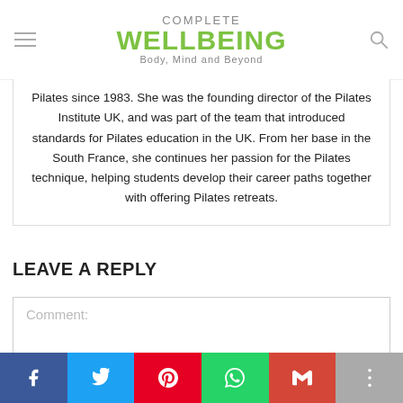COMPLETE WELLBEING Body, Mind and Beyond
Pilates since 1983. She was the founding director of the Pilates Institute UK, and was part of the team that introduced standards for Pilates education in the UK. From her base in the South France, she continues her passion for the Pilates technique, helping students develop their career paths together with offering Pilates retreats.
LEAVE A REPLY
Comment: